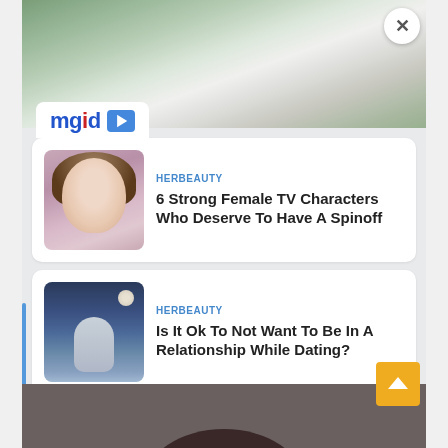[Figure (photo): Aerial view of buildings and grounds, used as background header image]
[Figure (logo): MGID logo with play button icon]
[Figure (photo): Thumbnail of a young girl with brown hair wearing a purple sweater]
HERBEAUTY
6 Strong Female TV Characters Who Deserve To Have A Spinoff
[Figure (photo): Thumbnail of a woman silhouetted against a moonlit sky, seen from behind]
HERBEAUTY
Is It Ok To Not Want To Be In A Relationship While Dating?
[Figure (photo): Portrait of a dark-haired woman against a grey background, visible from shoulders up]